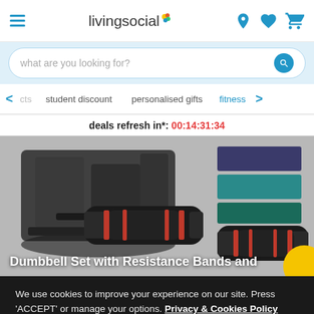livingsocial
what are you looking for?
cts   student discount   personalised gifts   fitness
deals refresh in*: 00:14:31:34
[Figure (photo): Dumbbell Set with Resistance Bands and fitness equipment including adjustable dumbbells and resistance bands laid on a grey surface]
We use cookies to improve your experience on our site. Press 'ACCEPT' or manage your options. Privacy & Cookies Policy
Options
ACCEPT